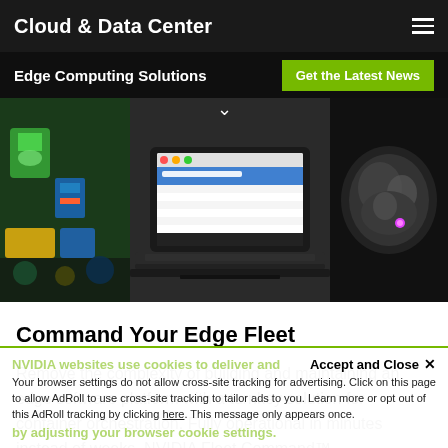Cloud & Data Center
[Figure (screenshot): Edge Computing Solutions hero banner with three images: colorful warehouse/robotics scene on left, laptop with software UI in center, MRI medical scan on right. 'Get the Latest News' green button in top right. Chevron down arrow below overlay bar.]
Command Your Edge Fleet
Remove the complexity of building and maintaining an edge software platform with a turnkey solution for container orchestration. Fully operational in minutes instead of weeks, NVIDIA Fleet Command™
NVIDIA websites use cookies to deliver and
Accept and Close ✕
Your browser settings do not allow cross-site tracking for advertising. Click on this page to allow AdRoll to use cross-site tracking to tailor ads to you. Learn more or opt out of this AdRoll tracking by clicking here. This message only appears once.
by adjusting your browser cookie settings.